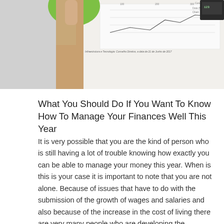[Figure (photo): A hand holding a financial chart/document, partially visible, with green element in top left corner and a printed chart visible in the background.]
What You Should Do If You Want To Know How To Manage Your Finances Well This Year
It is very possible that you are the kind of person who is still having a lot of trouble knowing how exactly you can be able to manage your money this year. When is this is your case it is important to note that you are not alone. Because of issues that have to do with the submission of the growth of wages and salaries and also because of the increase in the cost of living there are very many people who are developing the problems of not being able to here! know exactly how they can be able to manage their money to fit